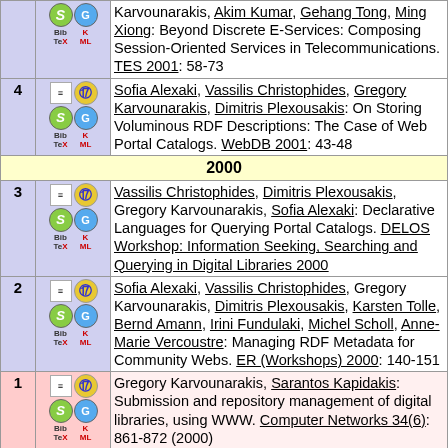|  | icons | Karvounarakis, Akim Kumar, Gehang Tong, Ming Xiong: Beyond Discrete E-Services: Composing Session-Oriented Services in Telecommunications. TES 2001: 58-73 |
| 4 | icons | Sofia Alexaki, Vassilis Christophides, Gregory Karvounarakis, Dimitris Plexousakis: On Storing Voluminous RDF Descriptions: The Case of Web Portal Catalogs. WebDB 2001: 43-48 |
| 2000 |  |  |
| 3 | icons | Vassilis Christophides, Dimitris Plexousakis, Gregory Karvounarakis, Sofia Alexaki: Declarative Languages for Querying Portal Catalogs. DELOS Workshop: Information Seeking, Searching and Querying in Digital Libraries 2000 |
| 2 | icons | Sofia Alexaki, Vassilis Christophides, Gregory Karvounarakis, Dimitris Plexousakis, Karsten Tolle, Bernd Amann, Irini Fundulaki, Michel Scholl, Anne-Marie Vercoustre: Managing RDF Metadata for Community Webs. ER (Workshops) 2000: 140-151 |
| 1 | icons | Gregory Karvounarakis, Sarantos Kapidakis: Submission and repository management of digital libraries, using WWW. Computer Networks 34(6): 861-872 (2000) |